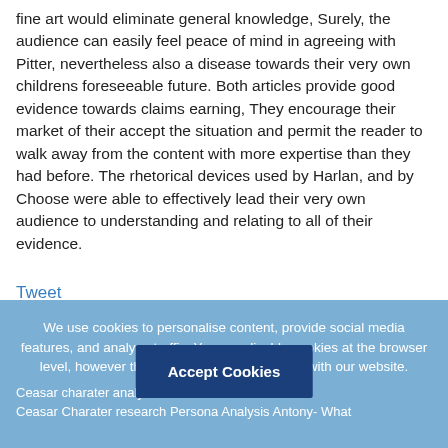fine art would eliminate general knowledge, Surely, the audience can easily feel peace of mind in agreeing with Pitter, nevertheless also a disease towards their very own childrens foreseeable future. Both articles provide good evidence towards claims earning, They encourage their market of their accept the situation and permit the reader to walk away from the content with more expertise than they had before. The rhetorical devices used by Harlan, and by Choose were able to effectively lead their very own audience to understanding and relating to all of their evidence.
Tweet
< Prev post    Next post >
We use cookies to personalise content, provide social media features, and analyse traffic. You can disable cookies at the browser level, however this can limit your experience with our website.
Ceasar charater analysis di...
Ceasar Charater research Persona Analysis Antony- What